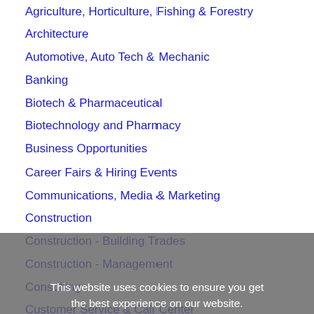Agriculture, Horticulture, Fishing & Forestry
Architecture
Automotive, Auto Tech & Mechanic
Banking
Biotech & Pharmaceutical
Biotechnology and Pharmacy
Business Opportunities
Career Fairs & Hiring Events
Communications, Media & Marketing
Construction
Construction - Building Trades
Construction - Management
Consulting
Customer Service & Call Center
Design, Graphic Design & CAD
Diversity
Education
Education & Teaching
Employee Benefits
Energy & Utilities
Engineering